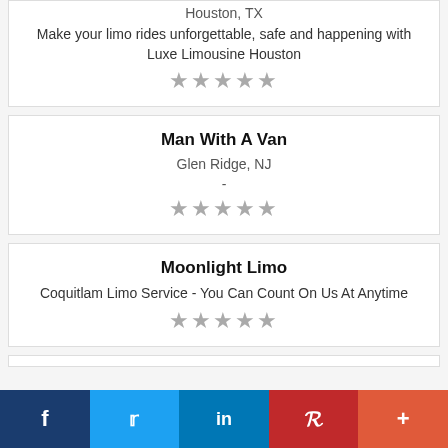Houston, TX
Make your limo rides unforgettable, safe and happening with Luxe Limousine Houston
★★★★★
Man With A Van
Glen Ridge, NJ
-
★★★★★
Moonlight Limo
Coquitlam Limo Service - You Can Count On Us At Anytime
★★★★★
f  Twitter  in  P  +